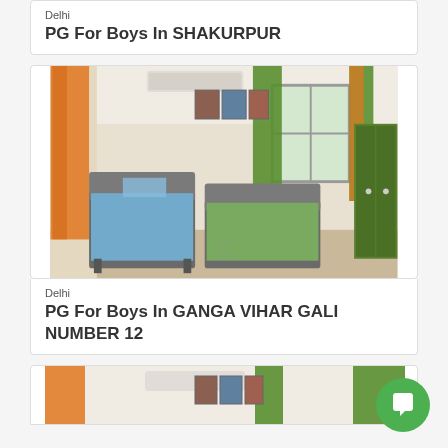Delhi
PG For Boys In SHAKURPUR
[Figure (photo): Interior of a PG room with two beds with blue and green sheets, orange and green curtains, wardrobe, and air conditioner]
Delhi
PG For Boys In GANGA VIHAR GALI NUMBER 12
[Figure (photo): Interior of another PG room similar to above with orange and green curtains, two beds, green wardrobe]
[Figure (other): Green circular chat/messaging button with white chat icon]